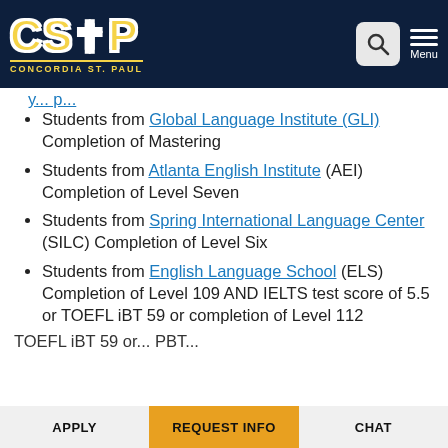[Figure (logo): CSP Concordia St. Paul logo in gold and white on dark navy background, with search and menu icons]
Students from Global Language Institute (GLI) Completion of Mastering
Students from Atlanta English Institute (AEI) Completion of Level Seven
Students from Spring International Language Center (SILC) Completion of Level Six
Students from English Language School (ELS) Completion of Level 109 AND IELTS test score of 5.5 or TOEFL iBT 59 or completion of Level 112
APPLY | REQUEST INFO | CHAT